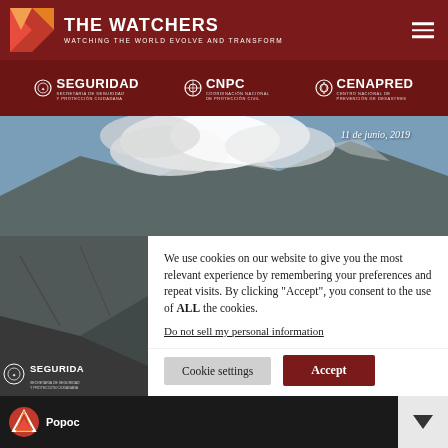THE WATCHERS — WATCHING THE WORLD EVOLVE AND TRANSFORM
[Figure (screenshot): Banner with Seguridad, CNPC, and CENAPRED logos on dark red background]
[Figure (photo): Aerial photo of a volcano emitting smoke/ash on 11 de junio, 2019]
We use cookies on our website to give you the most relevant experience by remembering your preferences and repeat visits. By clicking “Accept”, you consent to the use of ALL the cookies.
Do not sell my personal information.
[Figure (screenshot): Partial thumbnail of Popocatepetl article with dark background]